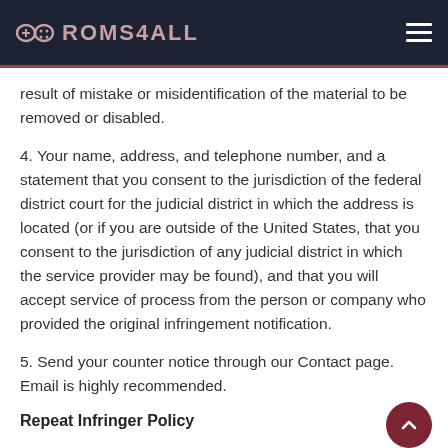ROMS4ALL
result of mistake or misidentification of the material to be removed or disabled.
4. Your name, address, and telephone number, and a statement that you consent to the jurisdiction of the federal district court for the judicial district in which the address is located (or if you are outside of the United States, that you consent to the jurisdiction of any judicial district in which the service provider may be found), and that you will accept service of process from the person or company who provided the original infringement notification.
5. Send your counter notice through our Contact page. Email is highly recommended.
Repeat Infringer Policy